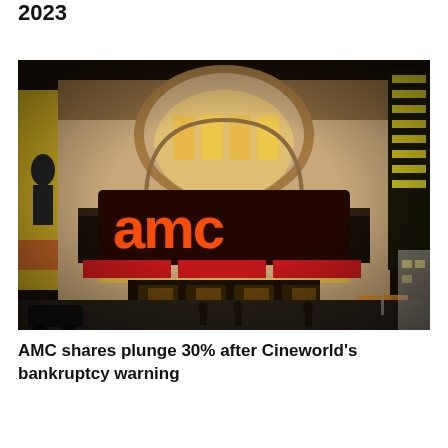2023
[Figure (photo): Nighttime photograph of an AMC movie theater exterior showing the large orange illuminated AMC neon sign on a classic ornate building facade, with yellow billboard and street scene visible on the sides.]
AMC shares plunge 30% after Cineworld's bankruptcy warning